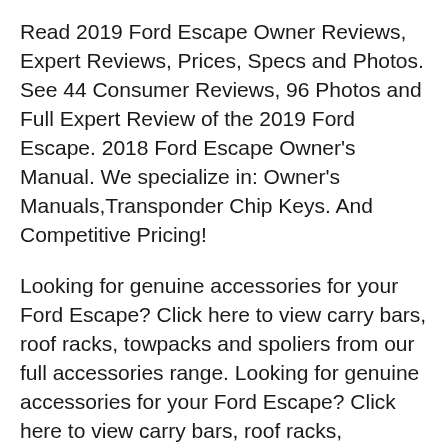Read 2019 Ford Escape Owner Reviews, Expert Reviews, Prices, Specs and Photos. See 44 Consumer Reviews, 96 Photos and Full Expert Review of the 2019 Ford Escape. 2018 Ford Escape Owner's Manual. We specialize in: Owner's Manuals,Transponder Chip Keys. And Competitive Pricing!
Looking for genuine accessories for your Ford Escape? Click here to view carry bars, roof racks, towpacks and spoliers from our full accessories range. Looking for genuine accessories for your Ford Escape? Click here to view carry bars, roof racks, towpacks and spoliers from our full accessories range.